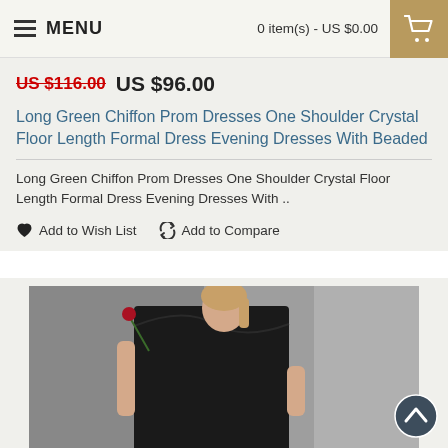MENU   0 item(s) - US $0.00
US $116.00  US $96.00
Long Green Chiffon Prom Dresses One Shoulder Crystal Floor Length Formal Dress Evening Dresses With Beaded
Long Green Chiffon Prom Dresses One Shoulder Crystal Floor Length Formal Dress Evening Dresses With ..
Add to Wish List   Add to Compare
[Figure (photo): A woman in a black off-shoulder formal/prom dress holding a red rose, posing against a grey concrete wall background.]